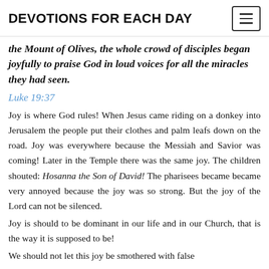DEVOTIONS FOR EACH DAY
the Mount of Olives, the whole crowd of disciples began joyfully to praise God in loud voices for all the miracles they had seen.
Luke 19:37
Joy is where God rules! When Jesus came riding on a donkey into Jerusalem the people put their clothes and palm leafs down on the road. Joy was everywhere because the Messiah and Savior was coming! Later in the Temple there was the same joy. The children shouted: Hosanna the Son of David! The pharisees became became very annoyed because the joy was so strong. But the joy of the Lord can not be silenced.
Joy is should to be dominant in our life and in our Church, that is the way it is supposed to be!
We should not let this joy be smothered with false